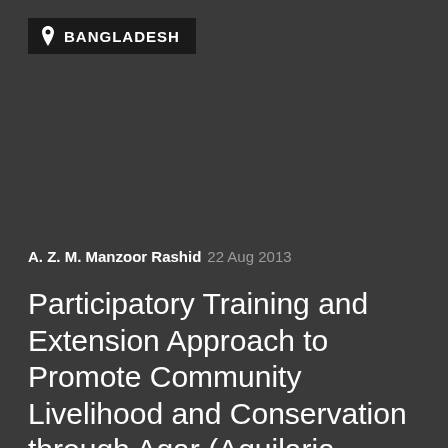[Figure (other): Location badge showing 'BANGLADESH' with a map pin icon on dark background]
A. Z. M. Manzoor Rashid 22 Aug 2013
Participatory Training and Extension Approach to Promote Community Livelihood and Conservation through Agar (Aquilaria agallocha) and Rattan Based Cultivation